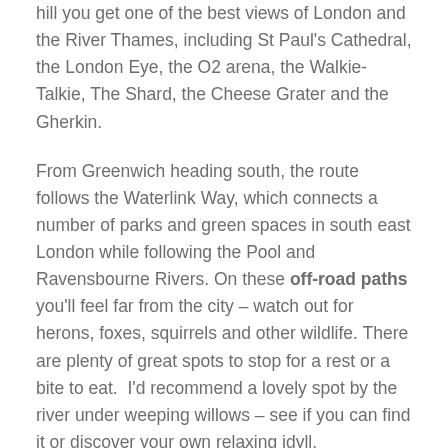hill you get one of the best views of London and the River Thames, including St Paul's Cathedral, the London Eye, the O2 arena, the Walkie-Talkie, The Shard, the Cheese Grater and the Gherkin.
From Greenwich heading south, the route follows the Waterlink Way, which connects a number of parks and green spaces in south east London while following the Pool and Ravensbourne Rivers. On these off-road paths you'll feel far from the city – watch out for herons, foxes, squirrels and other wildlife. There are plenty of great spots to stop for a rest or a bite to eat.  I'd recommend a lovely spot by the river under weeping willows – see if you can find it or discover your own relaxing idyll.
David Wills, Project Officer, Quietways, London Favourite Route: National Cycle Network 4